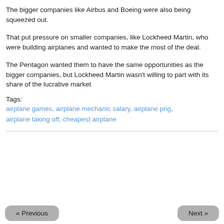The bigger companies like Airbus and Boeing were also being squeezed out.
That put pressure on smaller companies, like Lockheed Martin, who were building airplanes and wanted to make the most of the deal.
The Pentagon wanted them to have the same opportunities as the bigger companies, but Lockheed Martin wasn't willing to part with its share of the lucrative market
Tags: airplane games, airplane mechanic salary, airplane png, airplane taking off, cheapest airplane
« Previous   Next »